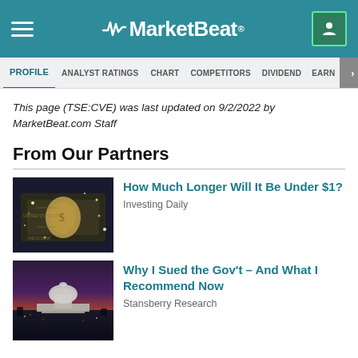MarketBeat
PROFILE  ANALYST RATINGS  CHART  COMPETITORS  DIVIDEND  EARNINGS
This page (TSE:CVE) was last updated on 9/2/2022 by MarketBeat.com Staff
From Our Partners
[Figure (photo): A one dollar US bill covered in or fading into sparkles/crystals on a dark background]
How Much Longer Will It Be Under $1?
Investing Daily
[Figure (photo): Aerial view of the US Capitol building at dusk/night with city lights in the background]
Why I Sued the Gov't – And What I Recommend Now
Stansberry Research